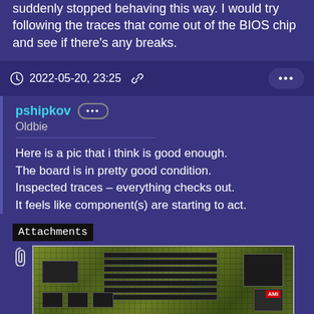suddenly stopped behaving this way. I would try following the traces that come out of the BIOS chip and see if there's any breaks.
2022-05-20, 23:25
pshipkov
Oldbie
Here is a pic that i think is good enough.
The board is in pretty good condition.
Inspected traces – everything checks out.
It feels like component(s) are starting to act.
Attachments
[Figure (photo): Photo of a vintage PC motherboard (ISA/AT form factor) showing expansion slots, chips, and PCB traces. AMI BIOS chip visible in top right area.]